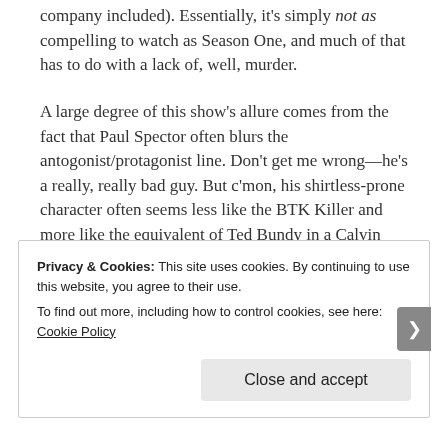company included). Essentially, it's simply not as compelling to watch as Season One, and much of that has to do with a lack of, well, murder.
A large degree of this show's allure comes from the fact that Paul Spector often blurs the antogonist/protagonist line. Don't get me wrong—he's a really, really bad guy. But c'mon, his shirtless-prone character often seems less like the BTK Killer and more like the equivalent of Ted Bundy in a Calvin Klein ad.
Privacy & Cookies: This site uses cookies. By continuing to use this website, you agree to their use. To find out more, including how to control cookies, see here: Cookie Policy
Close and accept